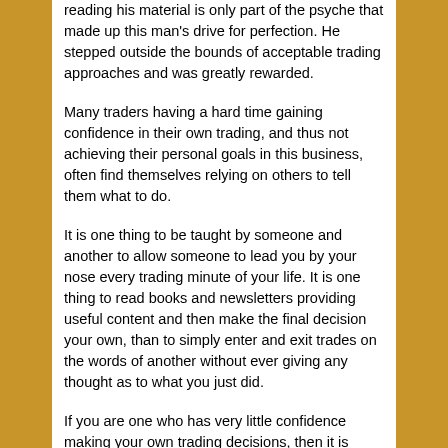reading his material is only part of the psyche that made up this man's drive for perfection. He stepped outside the bounds of acceptable trading approaches and was greatly rewarded.
Many traders having a hard time gaining confidence in their own trading, and thus not achieving their personal goals in this business, often find themselves relying on others to tell them what to do.
It is one thing to be taught by someone and another to allow someone to lead you by your nose every trading minute of your life. It is one thing to read books and newsletters providing useful content and then make the final decision your own, than to simply enter and exit trades on the words of another without ever giving any thought as to what you just did.
If you are one who has very little confidence making your own trading decisions, then it is likely you are not working to break out of the mold that has so many trapped with